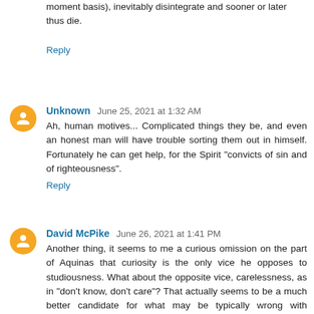moment basis), inevitably disintegrate and sooner or later thus die.
Reply
Unknown June 25, 2021 at 1:32 AM
Ah, human motives... Complicated things they be, and even an honest man will have trouble sorting them out in himself. Fortunately he can get help, for the Spirit "convicts of sin and of righteousness".
Reply
David McPike June 26, 2021 at 1:41 PM
Another thing, it seems to me a curious omission on the part of Aquinas that curiosity is the only vice he opposes to studiousness. What about the opposite vice, carelessness, as in "don't know, don't care"? That actually seems to be a much better candidate for what may be typically wrong with "arrogant amateurs" than curiosity, and at least as serious a problem in our society.